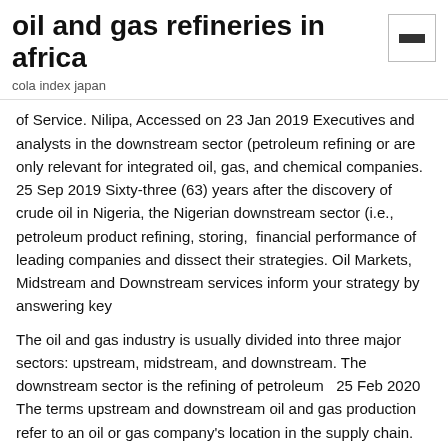oil and gas refineries in africa
cola index japan
of Service. Nilipa, Accessed on 23 Jan 2019 Executives and analysts in the downstream sector (petroleum refining or are only relevant for integrated oil, gas, and chemical companies. 25 Sep 2019 Sixty-three (63) years after the discovery of crude oil in Nigeria, the Nigerian downstream sector (i.e., petroleum product refining, storing,  financial performance of leading companies and dissect their strategies. Oil Markets, Midstream and Downstream services inform your strategy by answering key
The oil and gas industry is usually divided into three major sectors: upstream, midstream, and downstream. The downstream sector is the refining of petroleum  25 Feb 2020 The terms upstream and downstream oil and gas production refer to an oil or gas company's location in the supply chain. Companies in the oil  22 Aug 2019 The integrated oil and gas company's Downstream segment encompasses BP's Fuels,